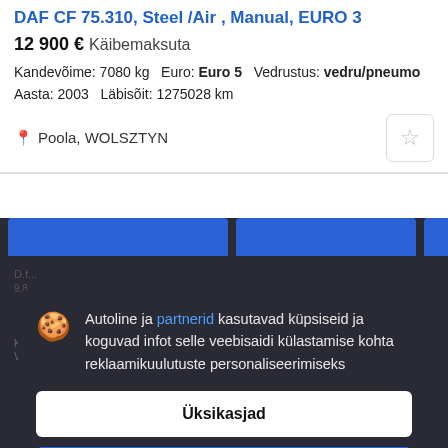DAF CF 75.310, Steel/Air , Manual, EURO 3
12 900 €  Käibemaksuta
Kandevõime: 7080 kg   Euro: Euro 5   Vedrustus: vedru/pneumo
Aasta: 2003   Läbisõit: 1275028 km
Poola, WOLSZTYN
[Figure (screenshot): Cookie consent overlay on darkened background. Shows cookie emoji, text in Estonian about Autoline ja partnerid using cookies, two buttons: Üksikasjad (Details) and Nõustu ja sulge (Accept and close). Behind overlay are blurred listing cards with blue headers.]
Autoline ja partnerid kasutavad küpsiseid ja koguvad infot selle veebisaidi külastamise kohta reklaamikuulutuste personaliseerimiseks
Üksikasjad
Nõustu ja sulge